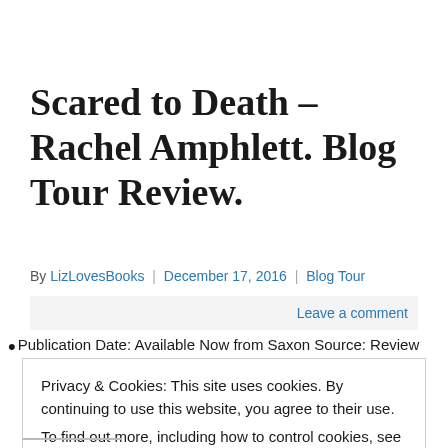Scared to Death – Rachel Amphlett. Blog Tour Review.
By LizLovesBooks | December 17, 2016 | Blog Tour
Leave a comment
• Publication Date: Available Now from Saxon Source: Review
Privacy & Cookies: This site uses cookies. By continuing to use this website, you agree to their use. To find out more, including how to control cookies, see here: Cookie Policy
Close and accept